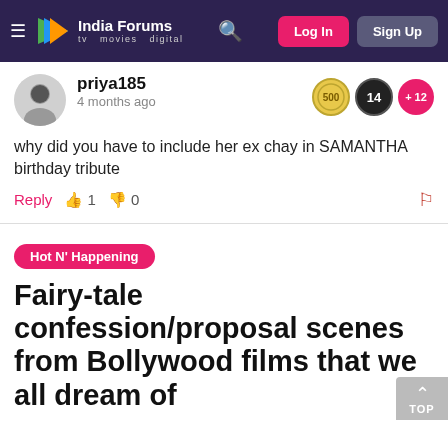India Forums - tv movies digital | Log In | Sign Up
priya185
4 months ago
why did you have to include her ex chay in SAMANTHA birthday tribute
Reply 1 0
Hot N' Happening
Fairy-tale confession/proposal scenes from Bollywood films that we all dream of